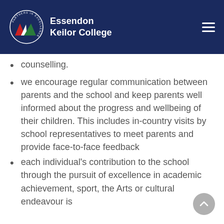Essendon Keilor College
counselling.
we encourage regular communication between parents and the school and keep parents well informed about the progress and wellbeing of their children. This includes in-country visits by school representatives to meet parents and provide face-to-face feedback
each individual's contribution to the school through the pursuit of excellence in academic achievement, sport, the Arts or cultural endeavour is